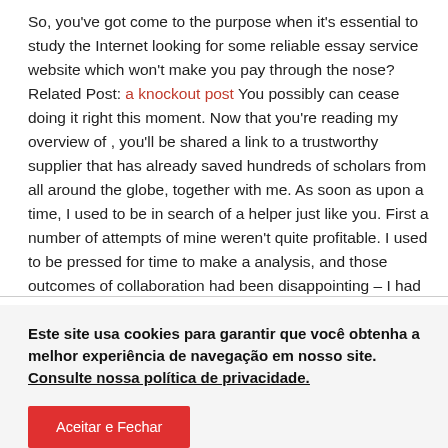So, you've got come to the purpose when it's essential to study the Internet looking for some reliable essay service website which won't make you pay through the nose? Related Post: a knockout post You possibly can cease doing it right this moment. Now that you're reading my overview of , you'll be shared a link to a trustworthy supplier that has already saved hundreds of scholars from all around the globe, together with me. As soon as upon a time, I used to be in search of a helper just like you. First a number of attempts of mine weren't quite profitable. I used to be pressed for time to make a analysis, and those outcomes of collaboration had been disappointing – I had
Este site usa cookies para garantir que você obtenha a melhor experiência de navegação em nosso site. Consulte nossa política de privacidade.
Aceitar e Fechar